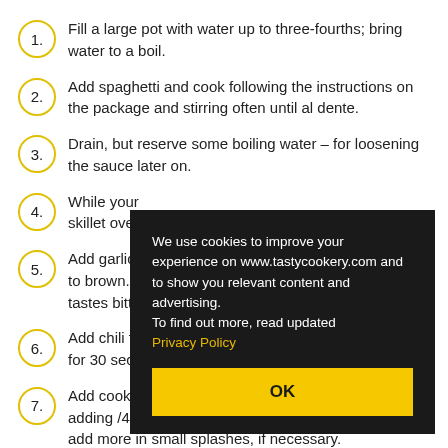Fill a large pot with water up to three-fourths; bring water to a boil.
Add spaghetti and cook following the instructions on the package and stirring often until al dente.
Drain, but reserve some boiling water – for loosening the sauce later on.
While your [text obscured by overlay] skillet over [text obscured by overlay]
Add garlic; [text obscured] to brown. K[text obscured]c tastes bitte[text obscured]
Add chili fla[text obscured] t for 30 seco[text obscured]
Add cooked[text obscured] adding /4 cup of pasta water to loosen the sauce, but add more in small splashes, if necessary.
We use cookies to improve your experience on www.tastycookery.com and to show you relevant content and advertising.
To find out more, read updated Privacy Policy